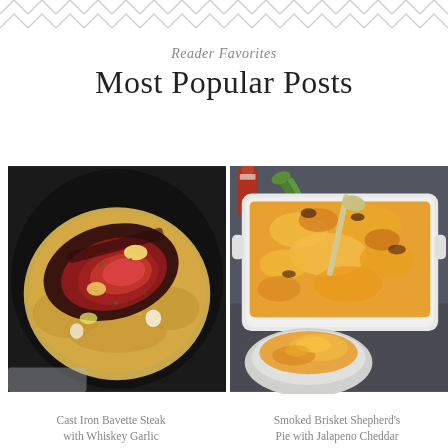[Figure (other): Decorative zigzag/chevron border pattern at top of page in light gray]
Reader Favorites
Most Popular Posts
[Figure (photo): Cast iron skillet with bavette steak sliced in a creamy whiskey garlic cream sauce, overhead view]
[Figure (photo): Smoked brisket shepherd's pie with jalapeno cheddar topping in a white casserole dish, overhead view with a small bowl of the dish]
Cast Iron Bavette Steak with Whiskey Garlic Cream Sauce
Smoked Brisket Shepherd's Pie with Jalapeno Cheddar Mashed Potatoes